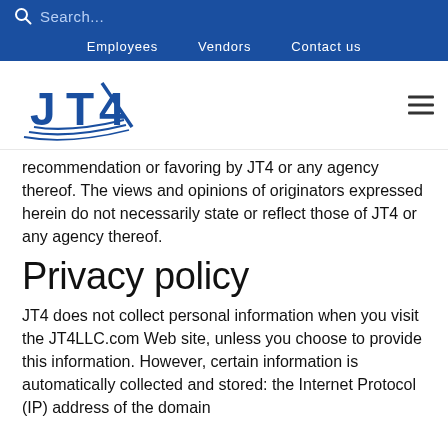Search...
Employees   Vendors   Contact us
[Figure (logo): JT4 company logo — stylized JT4 letters with blue swoosh lines]
recommendation or favoring by JT4 or any agency thereof. The views and opinions of originators expressed herein do not necessarily state or reflect those of JT4 or any agency thereof.
Privacy policy
JT4 does not collect personal information when you visit the JT4LLC.com Web site, unless you choose to provide this information. However, certain information is automatically collected and stored: the Internet Protocol (IP) address of the domain